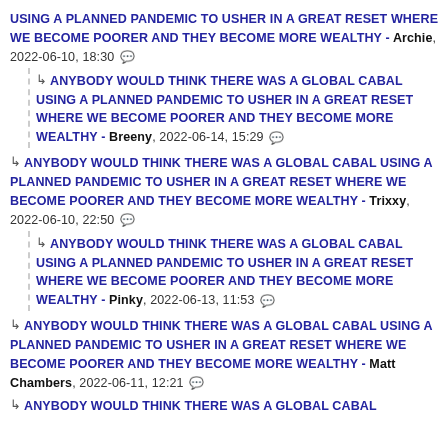USING A PLANNED PANDEMIC TO USHER IN A GREAT RESET WHERE WE BECOME POORER AND THEY BECOME MORE WEALTHY - Archie, 2022-06-10, 18:30
ANYBODY WOULD THINK THERE WAS A GLOBAL CABAL USING A PLANNED PANDEMIC TO USHER IN A GREAT RESET WHERE WE BECOME POORER AND THEY BECOME MORE WEALTHY - Breeny, 2022-06-14, 15:29
ANYBODY WOULD THINK THERE WAS A GLOBAL CABAL USING A PLANNED PANDEMIC TO USHER IN A GREAT RESET WHERE WE BECOME POORER AND THEY BECOME MORE WEALTHY - Trixxy, 2022-06-10, 22:50
ANYBODY WOULD THINK THERE WAS A GLOBAL CABAL USING A PLANNED PANDEMIC TO USHER IN A GREAT RESET WHERE WE BECOME POORER AND THEY BECOME MORE WEALTHY - Pinky, 2022-06-13, 11:53
ANYBODY WOULD THINK THERE WAS A GLOBAL CABAL USING A PLANNED PANDEMIC TO USHER IN A GREAT RESET WHERE WE BECOME POORER AND THEY BECOME MORE WEALTHY - Matt Chambers, 2022-06-11, 12:21
ANYBODY WOULD THINK THERE WAS A GLOBAL CABAL